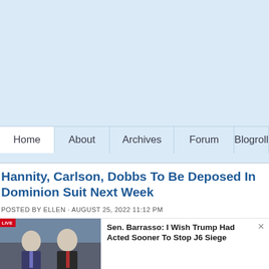[Figure (other): Light blue header banner area]
Home | About | Archives | Forum | Blogroll
Hannity, Carlson, Dobbs To Be Deposed In Dominion Suit Next Week
POSTED BY ELLEN · AUGUST 25, 2022 11:12 PM
[Figure (screenshot): Video thumbnail showing two men in suits (news broadcast) with a LIVE badge in top-left corner]
Sen. Barrasso: I Wish Trump Had Acted Sooner To Stop J6 Siege